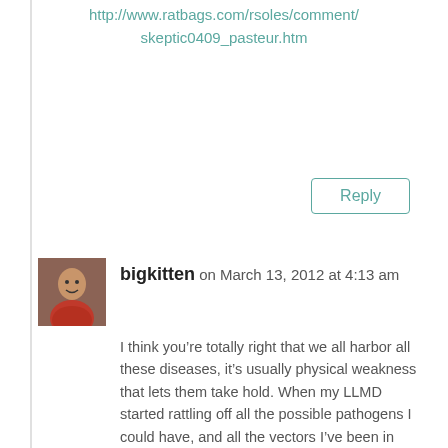http://www.ratbags.com/rsoles/comment/skeptic0409_pasteur.htm
Reply
bigkitten on March 13, 2012 at 4:13 am
I think you’re totally right that we all harbor all these diseases, it’s usually physical weakness that lets them take hold. When my LLMD started rattling off all the possible pathogens I could have, and all the vectors I’ve been in contact with (who’d have thunk my adorable kitty cats were making me so sick?!), I became so unbelievably paranoid, I was seeing infectious diseases everywhere I looked. That was another part of what made me decide to seek a different approach. They say Pasteur didn’t actually say this on his deathbed but it’s a good story anyhow.